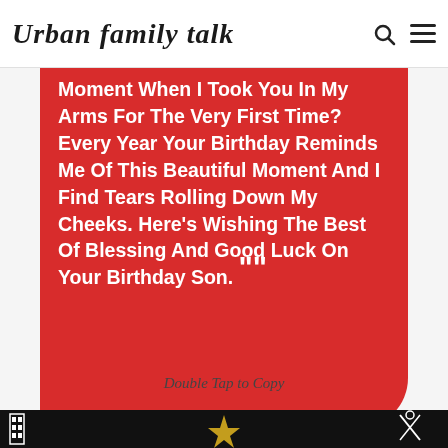Urban family talk
Moment When I Took You In My Arms For The Very First Time? Every Year Your Birthday Reminds Me Of This Beautiful Moment And I Find Tears Rolling Down My Cheeks. Here's Wishing The Best Of Blessing And Good Luck On Your Birthday Son. ””
Double Tap to Copy
[Figure (illustration): Bottom portion of a decorative birthday-themed image with dark background showing partial film strip and party elements in white and yellow/gold.]